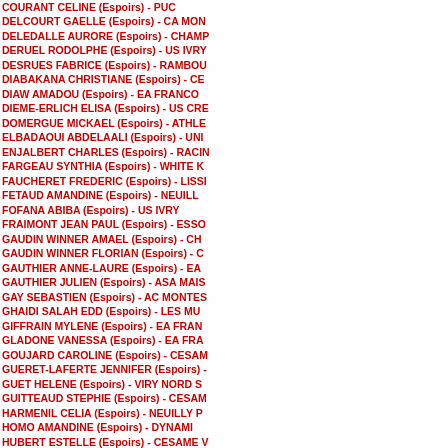COURANT CELINE (Espoirs) - PUC
DELCOURT GAELLE (Espoirs) - CA MON
DELEDALLE AURORE (Espoirs) - CHAMP
DERUEL RODOLPHE (Espoirs) - US IVRY
DESRUES FABRICE (Espoirs) - RAMBOU
DIABAKANA CHRISTIANE (Espoirs) - CE
DIAW AMADOU (Espoirs) - EA FRANCO
DIEME-ERLICH ELISA (Espoirs) - US CRE
DOMERGUE MICKAEL (Espoirs) - ATHLE
ELBADAOUI ABDELAALI (Espoirs) - UNI
ENJALBERT CHARLES (Espoirs) - RACIN
FARGEAU SYNTHIA (Espoirs) - WHITE K
FAUCHERET FREDERIC (Espoirs) - LISSI
FETAUD AMANDINE (Espoirs) - NEUILL
FOFANA ABIBA (Espoirs) - US IVRY
FRAIMONT JEAN PAUL (Espoirs) - ESSO
GAUDIN WINNER AMAEL (Espoirs) - CH
GAUDIN WINNER FLORIAN (Espoirs) - C
GAUTHIER ANNE-LAURE (Espoirs) - EA
GAUTHIER JULIEN (Espoirs) - ASA MAIS
GAY SEBASTIEN (Espoirs) - AC MONTES
GHAIDI SALAH EDD (Espoirs) - LES MU
GIFFRAIN MYLENE (Espoirs) - EA FRAN
GLADONE VANESSA (Espoirs) - EA FRA
GOUJARD CAROLINE (Espoirs) - CESAM
GUERET-LAFERTE JENNIFER (Espoirs) -
GUET HELENE (Espoirs) - VIRY NORD S
GUITTEAUD STEPHIE (Espoirs) - CESAM
HARMENIL CELIA (Espoirs) - NEUILLY P
HOMO AMANDINE (Espoirs) - DYNAMI
HUBERT ESTELLE (Espoirs) - CESAME V
JAMES MELODIE (Espoirs) - AVON SEC
JOLIVEAU EDOUARD (Espoirs) - VIRY N
JUDITH CEDRICK (Espoirs) - US CRETE
KANGOU ALLYSON (Espoirs) - BUSSY S
KAPFER PIERRE (Espoirs) - VIRY NORD
KASSAMBARA AURORE (Espoirs) - RAC
LANDRU ADELINE (Espoirs) - CA COMB